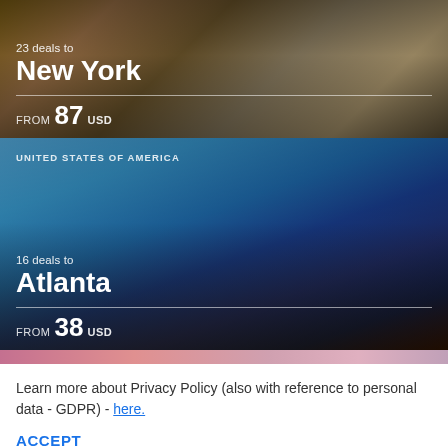[Figure (photo): Travel deal card for New York with a photo of a person sitting on a bench under a bridge with city skyline. Text overlay: '23 deals to New York, FROM 87 USD']
[Figure (photo): Travel deal card for Atlanta with a photo of the Atlanta city skyline at sunset with blue-tinted buildings. Text overlay: 'UNITED STATES OF AMERICA, 16 deals to Atlanta, FROM 38 USD']
Learn more about Privacy Policy (also with reference to personal data - GDPR) - here.
Accept